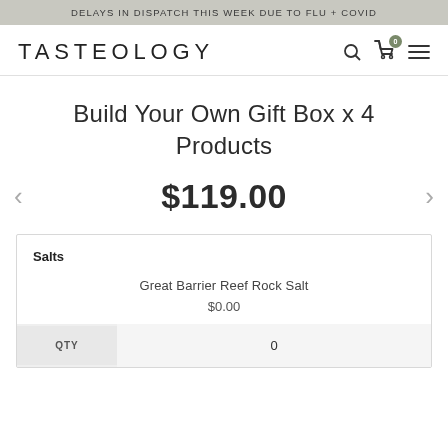DELAYS IN DISPATCH THIS WEEK DUE TO FLU + COVID
TASTEOLOGY
Build Your Own Gift Box x 4 Products
$119.00
Salts
Great Barrier Reef Rock Salt
$0.00
| QTY |  |
| --- | --- |
| QTY | 0 |